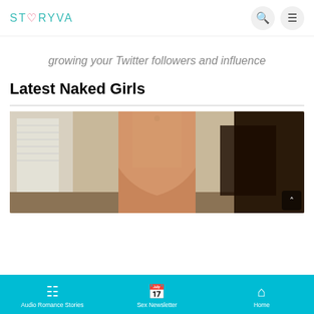STORYVA
growing your Twitter followers and influence
Latest Naked Girls
[Figure (photo): Partial view of a person's torso/lower body in a room]
Audio Romance Stories | Sex Newsletter | Home